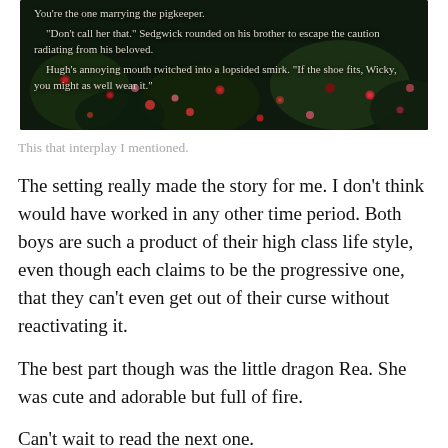[Figure (illustration): A book cover excerpt showing text over a dark floral/nature background with red and pink flowers and green foliage. The text reads: 'You're the one marrying the pigkeeper.' "Don't call her that." Sedgwick rounded on his brother to escape the caution radiating from his beloved. Hugh's annoying mouth twitched into a lopsided smirk. "If the shoe fits, Wicky, you might as well wear it."]
This that interplay I mentioned.
The setting really made the story for me. I don't think would have worked in any other time period. Both boys are such a product of their high class life style, even though each claims to be the progressive one, that they can't even get out of their curse without reactivating it.
The best part though was the little dragon Rea. She was cute and adorable but full of fire.
Can't wait to read the next one.